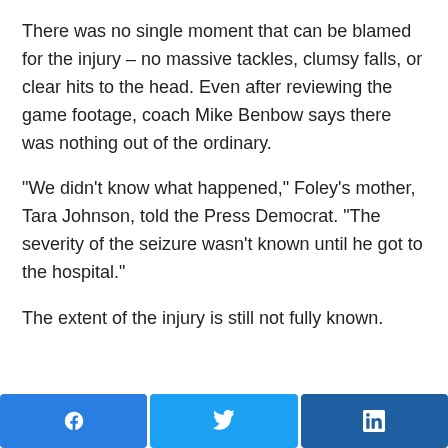There was no single moment that can be blamed for the injury – no massive tackles, clumsy falls, or clear hits to the head. Even after reviewing the game footage, coach Mike Benbow says there was nothing out of the ordinary.
“We didn’t know what happened,” Foley’s mother, Tara Johnson, told the Press Democrat. “The severity of the seizure wasn’t known until he got to the hospital.”
The extent of the injury is still not fully known.
[Figure (infographic): Social share buttons: Facebook (blue), Twitter (light blue), LinkedIn (dark blue)]